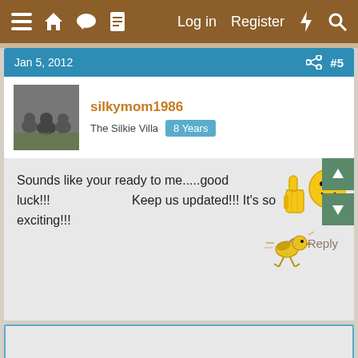≡  🏠  💬  📄    Log in   Register  ⚡  🔍
Jan 5, 2012   #5
silkymom1986
The Silkie Villa  8 Years
Sounds like your ready to me.....good luck!!!  Keep us updated!!! It's so exciting!!!
↩ Reply